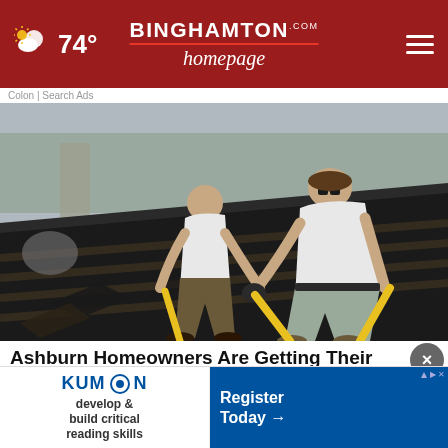74° | BINGHAMTON homepage.com
Colon | Search Ads
[Figure (photo): Two workers in white t-shirts using yellow-handled tools to tear up old shingles on a roof]
Ashburn Homeowners Are Getting Their Roofs Rep...
Smart Lifestyle Trends
[Figure (screenshot): Kumon advertisement: develop & build critical reading skills | Register Today →]